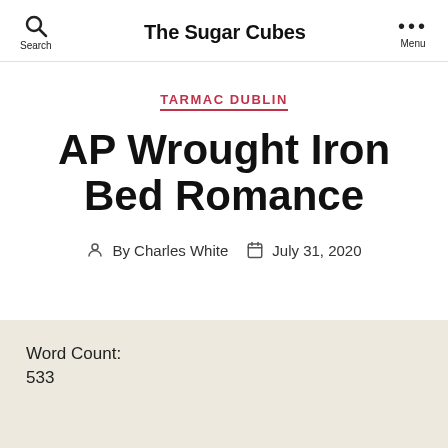The Sugar Cubes
TARMAC DUBLIN
AP Wrought Iron Bed Romance
By Charles White  July 31, 2020
Word Count:
533